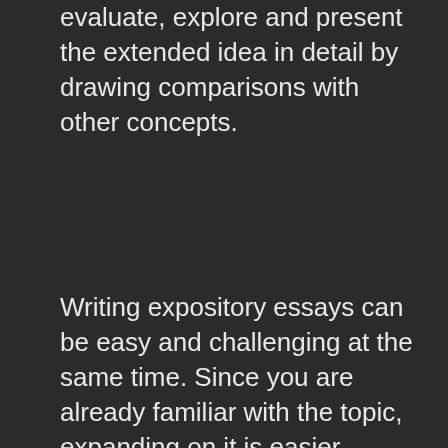evaluate, explore and present the extended idea in detail by drawing comparisons with other concepts.
Writing expository essays can be easy and challenging at the same time. Since you are already familiar with the topic, expanding on it is easier. However, many students lack the proper research and organization skills to structure their essays.